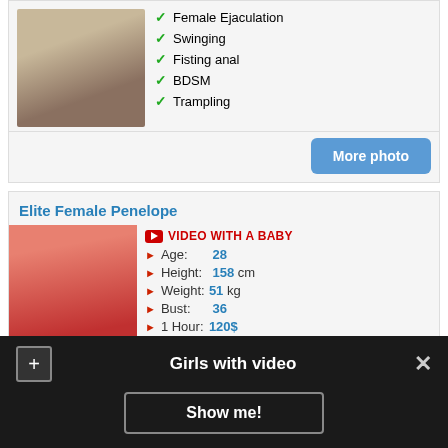Female Ejaculation
Swinging
Fisting anal
BDSM
Trampling
More photo
Elite Female Penelope
VIDEO WITH A BABY
Age: 28
Height: 158 cm
Weight: 51 kg
Bust: 36
1 Hour: 120$
Foot Worship
Girls with video
Show me!